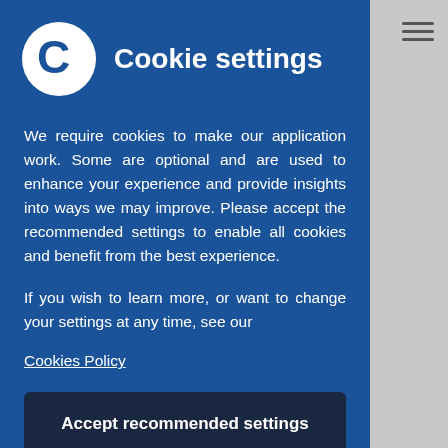Cookie settings
We require cookies to make our application work. Some are optional and are used to enhance your experience and provide insights into ways we may improve. Please accept the recommended settings to enable all cookies and benefit from the best experience.
If you wish to learn more, or want to change your settings at any time, see our
Cookies Policy
Accept recommended settings
Cookie settings